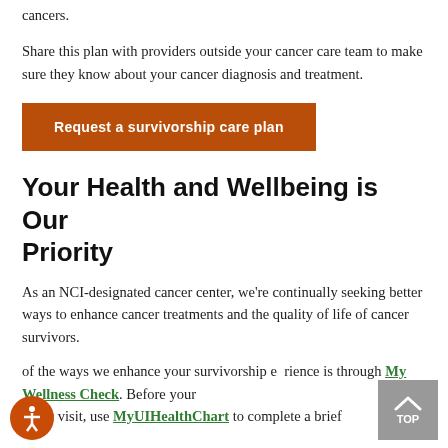cancers.
Share this plan with providers outside your cancer care team to make sure they know about your cancer diagnosis and treatment.
[Figure (other): Orange button labeled 'Request a survivorship care plan']
Your Health and Wellbeing is Our Priority
As an NCI-designated cancer center, we're continually seeking better ways to enhance cancer treatments and the quality of life of cancer survivors.
of the ways we enhance your survivorship experience is through My Wellness Check. Before your clinic visit, use MyUIHealthChart to complete a brief